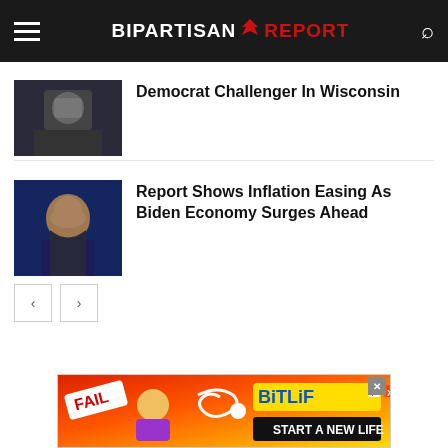BIPARTISAN REPORT
[Figure (photo): Thumbnail photo of a man in suit at congressional setting]
Democrat Challenger In Wisconsin
[Figure (photo): Thumbnail photo of Joe Biden smiling at debate podium]
Report Shows Inflation Easing As Biden Economy Surges Ahead
[Figure (other): BitLife advertisement banner — FAIL START A NEW LIFE]